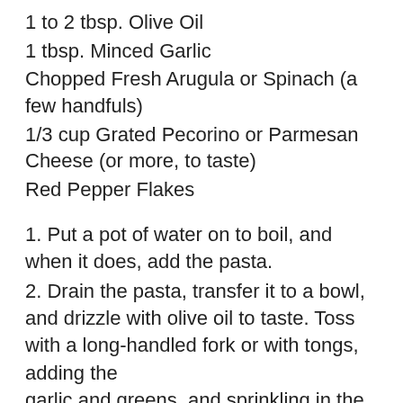1 to 2 tbsp. Olive Oil
1 tbsp. Minced Garlic
Chopped Fresh Arugula or Spinach (a few handfuls)
1/3 cup Grated Pecorino or Parmesan Cheese (or more, to taste)
Red Pepper Flakes
1. Put a pot of water on to boil, and when it does, add the pasta.
2. Drain the pasta, transfer it to a bowl, and drizzle with olive oil to taste. Toss with a long-handled fork or with tongs, adding the garlic and greens, and sprinkling in the cheese and pepper flakes as you toss.
3. Serve hot, possibly accompanied by leftover cooked vegetables, straight from the refrigerator or heated in the